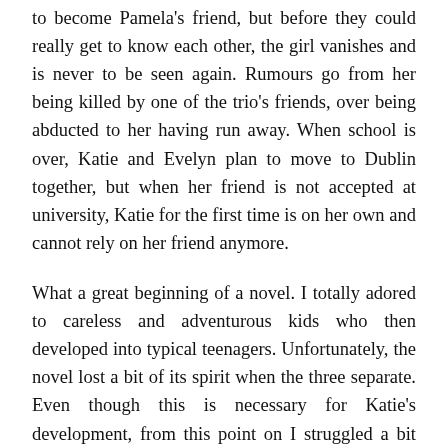to become Pamela's friend, but before they could really get to know each other, the girl vanishes and is never to be seen again. Rumours go from her being killed by one of the trio's friends, over being abducted to her having run away. When school is over, Katie and Evelyn plan to move to Dublin together, but when her friend is not accepted at university, Katie for the first time is on her own and cannot rely on her friend anymore.
What a great beginning of a novel. I totally adored to careless and adventurous kids who then developed into typical teenagers. Unfortunately, the novel lost a bit of its spirit when the three separate. Even though this is necessary for Katie's development, from this point on I struggled a bit with the reading, first and foremost because I found it hard to endure Katie's naivety and her inability to become an independent person, to develop her own ideas and tastes, she is totally dependent on